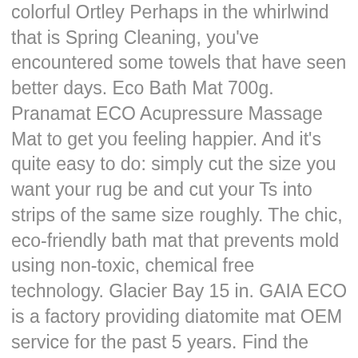colorful Ortley Perhaps in the whirlwind that is Spring Cleaning, you've encountered some towels that have seen better days. Eco Bath Mat 700g. Pranamat ECO Acupressure Massage Mat to get you feeling happier. And it's quite easy to do: simply cut the size you want your rug be and cut your Ts into strips of the same size roughly. The chic, eco-friendly bath mat that prevents mold using non-toxic, chemical free technology. Glacier Bay 15 in. GAIA ECO is a factory providing diatomite mat OEM service for the past 5 years. Find the perfect bath mat to complete your bathroom! The Pranamat ECO Mat ... Cheap Bath Mats, Buy Quality Home & Garden Directly from China Suppliers:Eco Friendly Diatomite Bath Mat Anti Slip Quick Drying Water Bathroom High Efficiency Water Absorption Mat Bathroom Foot Pad Rug Enjoy Free Shipping Worldwide! Made from biodegradable materials that contain no PVC, EVA or other synthetic materials, our range of eco yoga mats are kind to your body and the environment. The Diatomite Bath Mat prevents slips and falls by absorbing the water from your feet faster and more completely than any fabric bath mat. Our perfect